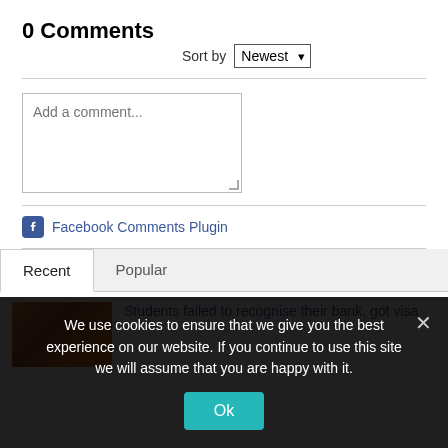0 Comments
Sort by Newest
[Figure (screenshot): Comment text area input box with placeholder text 'Add a comment...']
Facebook Comments Plugin
Recent | Popular
Students failed to recognise their bank, got visa
We use cookies to ensure that we give you the best experience on our website. If you continue to use this site we will assume that you are happy with it.
Ok